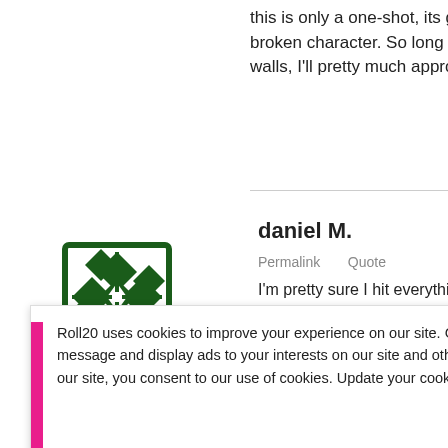this is only a one-shot, its gonna take around 3 broken character. So long as you don't give you walls, I'll pretty much approve it.
daniel M.
Permalink   Quote
I'm pretty sure I hit everything when I made my changes for fill in more stuff I'm more then happ
Samurai Jack
Roll20 uses cookies to improve your experience on our site. Cookies enable you to enjoy certain features, social sharing functionality, and tailor message and display ads to your interests on our site and others. They also help us understand how our site is being used. By continuing to use our site, you consent to our use of cookies. Update your cookie preferences here.
Stormseeker
Permalink   Quote